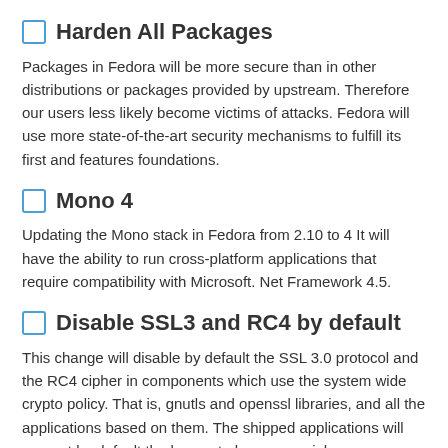🔲 Harden All Packages
Packages in Fedora will be more secure than in other distributions or packages provided by upstream. Therefore our users less likely become victims of attacks. Fedora will use more state-of-the-art security mechanisms to fulfill its first and features foundations.
🔲 Mono 4
Updating the Mono stack in Fedora from 2.10 to 4 It will have the ability to run cross-platform applications that require compatibility with Microsoft. Net Framework 4.5.
🔲 Disable SSL3 and RC4 by default
This change will disable by default the SSL 3.0 protocol and the RC4 cipher in components which use the system wide crypto policy. That is, gnutls and openssl libraries, and all the applications based on them. The shipped applications will support by default the known to be secure ciphers. Applications will still be able to enable the old ciphers and protocols for compatibility, but only after user override, or